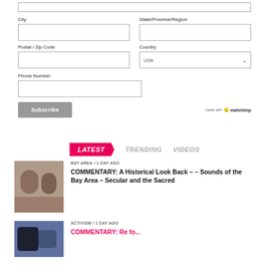[Figure (screenshot): Web form with City, State/Province/Region, Postal/Zip Code, Country (USA dropdown), Phone Number fields, and Subscribe button with Mailchimp badge]
LATEST  TRENDING  VIDEOS
BAY AREA / 1 day ago
COMMENTARY: A Historical Look Back – – Sounds of the Bay Area – Secular and the Sacred
ACTIVISM / 1 day ago